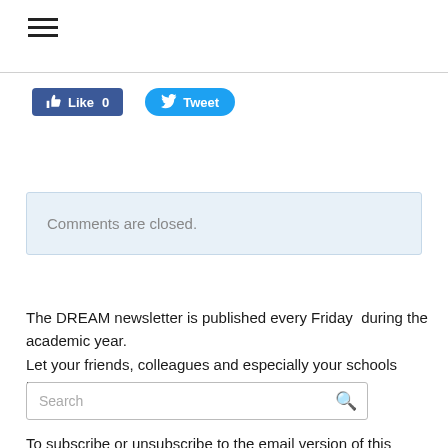[Figure (screenshot): Hamburger menu icon (three horizontal lines)]
[Figure (screenshot): Social share buttons: Facebook Like 0 and Twitter Tweet]
Comments are closed.
The DREAM newsletter is published every Friday  during the academic year.
Let your friends, colleagues and especially your schools know about us!
[Figure (screenshot): Search input box with search icon]
To subscribe or unsubscribe to the email version of this